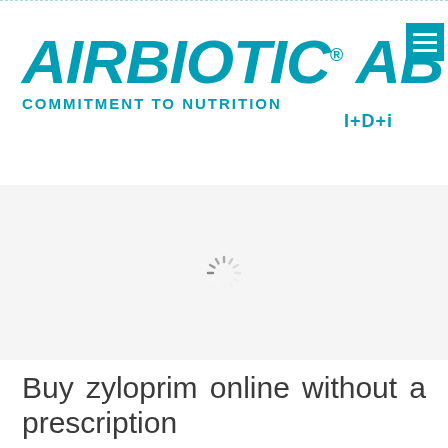[Figure (logo): AIRBIOTIC AB logo with tagline COMMITMENT TO NUTRITION and I+D+i]
[Figure (other): Loading spinner / activity indicator]
Buy zyloprim online without a prescription
HRSA-funded health centers will have the chance to sign up for coverage buy zyloprim online without a prescription on https://www.sous-le-lampion.com/can-i-buy-zyloprim-over-the-counter/ HealthCare. Americans have already signed up for health insurance through HealthCare. The Number of Invited Community Health Centers Grows from 950 to More Than 1,400U. Americans have the opportunity for